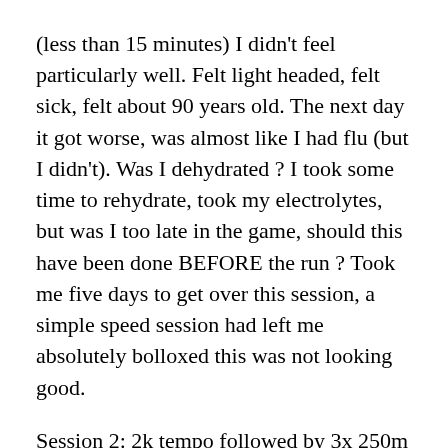(less than 15 minutes) I didn't feel particularly well. Felt light headed, felt sick, felt about 90 years old. The next day it got worse, was almost like I had flu (but I didn't). Was I dehydrated ? I took some time to rehydrate, took my electrolytes, but was I too late in the game, should this have been done BEFORE the run ? Took me five days to get over this session, a simple speed session had left me absolutely bolloxed this was not looking good.
Session 2: 2k tempo followed by 3x 250m at 800m pace with 250m walk break. This was done indoor in Athlone Arena. Absolutely no problem with this session, hit my paces, hit my times, hit the…